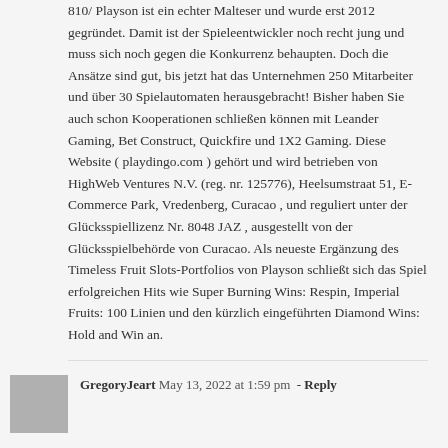810/ Playson ist ein echter Malteser und wurde erst 2012 gegründet. Damit ist der Spieleentwickler noch recht jung und muss sich noch gegen die Konkurrenz behaupten. Doch die Ansätze sind gut, bis jetzt hat das Unternehmen 250 Mitarbeiter und über 30 Spielautomaten herausgebracht! Bisher haben Sie auch schon Kooperationen schließen können mit Leander Gaming, Bet Construct, Quickfire und 1X2 Gaming. Diese Website ( playdingo.com ) gehört und wird betrieben von HighWeb Ventures N.V. (reg. nr. 125776), Heelsumstraat 51, E-Commerce Park, Vredenberg, Curacao , und reguliert unter der Glücksspiellizenz Nr. 8048 JAZ , ausgestellt von der Glücksspielbehörde von Curacao. Als neueste Ergänzung des Timeless Fruit Slots-Portfolios von Playson schließt sich das Spiel erfolgreichen Hits wie Super Burning Wins: Respin, Imperial Fruits: 100 Linien und den kürzlich eingeführten Diamond Wins: Hold and Win an.
GregoryJeart  May 13, 2022 at 1:59 pm - Reply